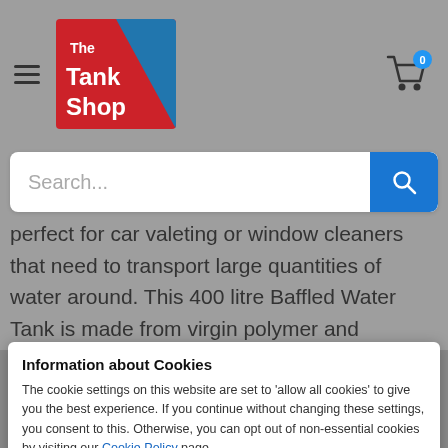[Figure (logo): The TankShop logo – red and blue diagonal split with white text]
perfect for car valeting or window cleaners that need to transport large quantities of water around. This 400 litre Baffled Water Tank is made from virgin polymer and
Information about Cookies
The cookie settings on this website are set to 'allow all cookies' to give you the best experience. If you continue without changing these settings, you consent to this. Otherwise, you can opt out of non-essential cookies by visiting our Cookie Policy page.
during transportation. The 400 litre Baffled Water Tank